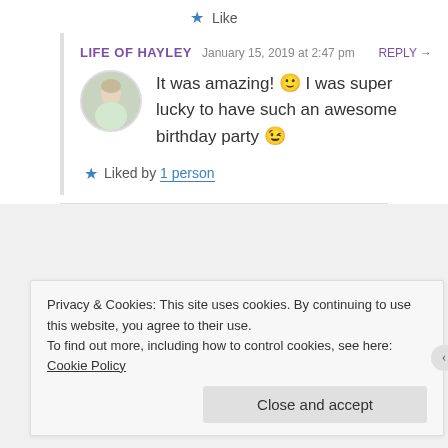★ Like
LIFE OF HAYLEY  January 15, 2019 at 2:47 pm  REPLY →
It was amazing! 🙂 I was super lucky to have such an awesome birthday party 😉
★ Liked by 1 person
Privacy & Cookies: This site uses cookies. By continuing to use this website, you agree to their use.
To find out more, including how to control cookies, see here: Cookie Policy
Close and accept